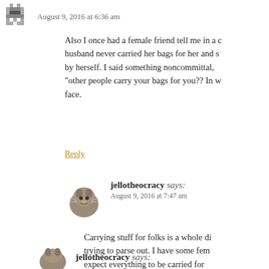August 9, 2016 at 6:36 am
Also I once had a female friend tell me in a conversation her husband never carried her bags for her and she had to carry them by herself. I said something noncommittal, and she said "other people carry your bags for you?? In w face.
Reply
jellotheocracy says:
August 9, 2016 at 7:47 am
Carrying stuff for folks is a whole di trying to parse out. I have some fem expect everything to be carried for the time too. Every feminine perso carry it herself kind of person.
jellotheocracy says: